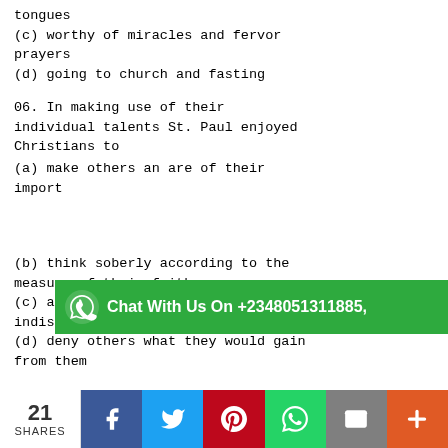tongues
(c) worthy of miracles and fervor prayers
(d) going to church and fasting
06. In making use of their individual talents St. Paul enjoyed Christians to
(a) make others an are of their importance
(b) think soberly according to the measure of their faith
(c) act as if they were indispensable
(d) deny others what they would gain from them